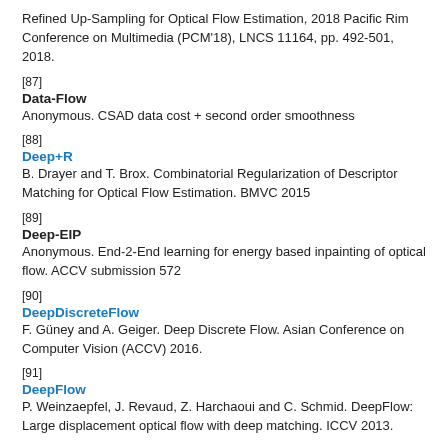Refined Up-Sampling for Optical Flow Estimation, 2018 Pacific Rim Conference on Multimedia (PCM'18), LNCS 11164, pp. 492-501, 2018.
[87]
Data-Flow
Anonymous. CSAD data cost + second order smoothness
[88]
Deep+R
B. Drayer and T. Brox. Combinatorial Regularization of Descriptor Matching for Optical Flow Estimation. BMVC 2015
[89]
Deep-EIP
Anonymous. End-2-End learning for energy based inpainting of optical flow. ACCV submission 572
[90]
DeepDiscreteFlow
F. Güney and A. Geiger. Deep Discrete Flow. Asian Conference on Computer Vision (ACCV) 2016.
[91]
DeepFlow
P. Weinzaepfel, J. Revaud, Z. Harchaoui and C. Schmid. DeepFlow: Large displacement optical flow with deep matching. ICCV 2013.